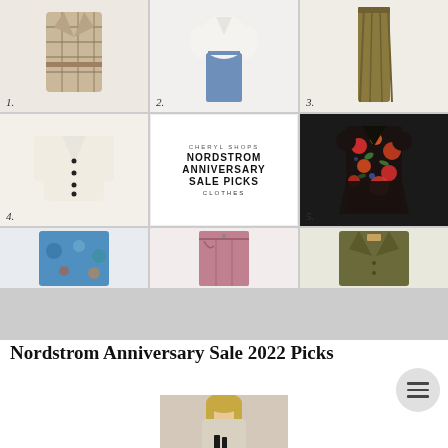[Figure (infographic): A 3x3 grid collage of Nordstrom Anniversary Sale clothing picks. Top row: (1) plaid/houndstooth coat dress, (2) white blouse with blue jeans, (3) olive/khaki maxi skirt. Middle row: (4) cream/ivory V-neck cardigan with black buttons, center cell shows 'CHERYL SHOPS NORDSTROM ANNIVERSARY SALE PICKS CLOTHES' text overlay, (5) red/multicolor floral mini dress. Bottom row: blue patterned top (partial), pink/mauve trousers (partial), olive green jacket (partial).]
Nordstrom Anniversary Sale 2022 Picks
[Figure (photo): Partial photo of a blonde woman, cropped at bottom of page, appearing to hold small dark bottles.]